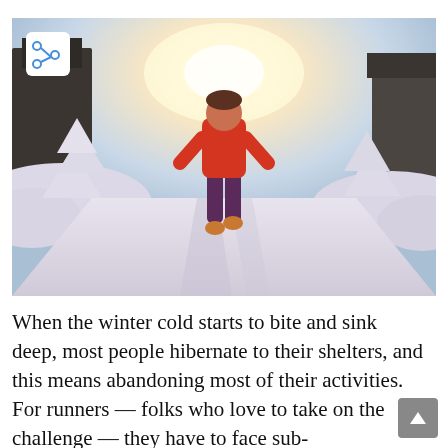[Figure (photo): A person in a red jacket and dark leggings running away from the camera on a snow-covered road. Snow-laden trees and buildings line both sides. Bright sunlight glows from ahead. A share icon button is overlaid in the top-left corner of the image.]
When the winter cold starts to bite and sink deep, most people hibernate to their shelters, and this means abandoning most of their activities. For runners — folks who love to take on the challenge — they have to face sub-